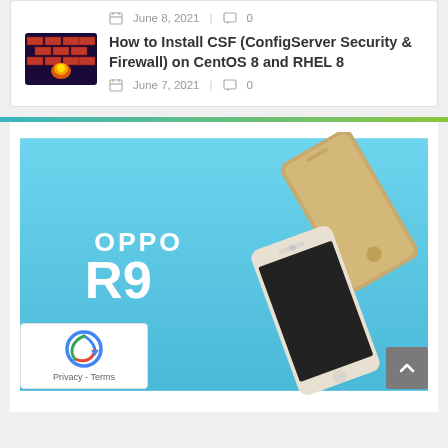June 8, 2021 | 0
[Figure (illustration): Thumbnail image of a brick wall with fire/flame icon, purple/dark background]
How to Install CSF (ConfigServer Security & Firewall) on CentOS 8 and RHEL 8
June 7, 2021 | 0
[Figure (photo): OPPO R9 smartphone advertisement on light blue background showing two gold/white smartphones floating at angles with text 'OPPO R9' in white bold font on the left side]